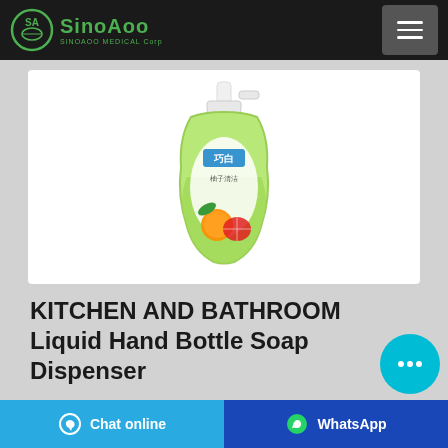SinoAoo - SINOAOO MEDICAL Corp
[Figure (photo): Green liquid hand soap dispenser bottle with pump, featuring Chinese branding with fruit (orange/grapefruit) imagery on the label]
KITCHEN AND BATHROOM Liquid Hand Bottle Soap Dispenser
...
Chat online | WhatsApp